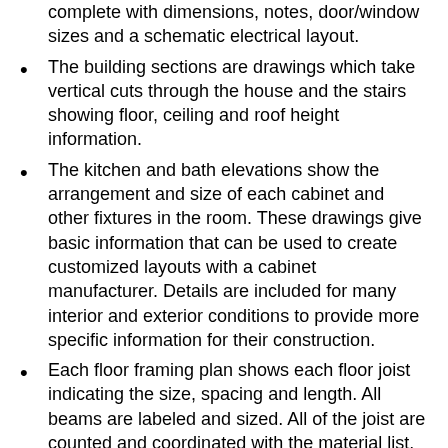complete with dimensions, notes, door/window sizes and a schematic electrical layout.
The building sections are drawings which take vertical cuts through the house and the stairs showing floor, ceiling and roof height information.
The kitchen and bath elevations show the arrangement and size of each cabinet and other fixtures in the room. These drawings give basic information that can be used to create customized layouts with a cabinet manufacturer. Details are included for many interior and exterior conditions to provide more specific information for their construction.
Each floor framing plan shows each floor joist indicating the size, spacing and length. All beams are labeled and sized. All of the joist are counted and coordinated with the material list. Each framing plan sheet includes any framing details that are needed (tray details, connection details, etc.). All of the